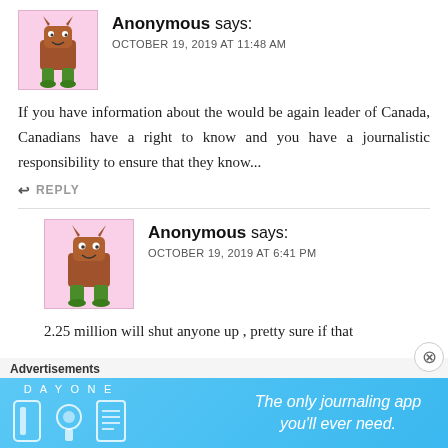[Figure (illustration): Cartoon monster avatar with brown body, horns, and green legs on pink background]
Anonymous says:
OCTOBER 19, 2019 AT 11:48 AM
If you have information about the would be again leader of Canada, Canadians have a right to know and you have a journalistic responsibility to ensure that they know...
↩ REPLY
[Figure (illustration): Cartoon monster avatar with brown body, horns, and green legs on pink background (smaller, nested comment)]
Anonymous says:
OCTOBER 19, 2019 AT 6:41 PM
2.25 million will shut anyone up , pretty sure if that
Advertisements
[Figure (screenshot): Day One journaling app advertisement banner with blue background and text 'The only journaling app you'll ever need.']